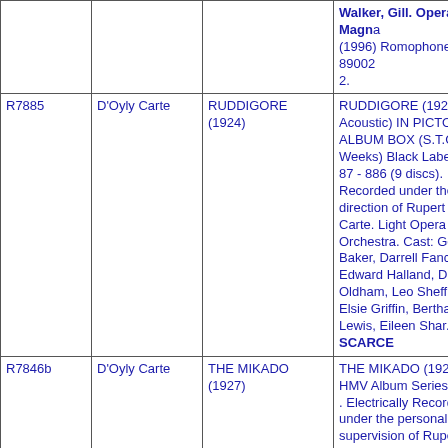| ID | Company | Title | Description |
| --- | --- | --- | --- |
|  |  |  | Walker, Gill. Opera Magna (1996) Romophone 89002 2. |
| R7885 | D'Oyly Carte | RUDDIGORE (1924) | RUDDIGORE (1924 Acoustic) IN PICTORIAL ALBUM BOX (S.T.C. Weeks) Black Label D. 87 - 886 (9 discs). Recorded under the direction of Rupert D'Oyly Carte. Light Opera Orchestra. Cast: George Baker, Darrell Fancourt, Edward Halland, Derek Oldham, Leo Sheffield, Elsie Griffin, Bertha Lewis, Eileen Shar... SCARCE |
| R7846b | D'Oyly Carte | THE MIKADO (1927) | THE MIKADO (1927) HMV Album Series No.38 . Electrically Recorded under the personal supervision of Rupert D'Oyly Carte. Cast: Darrell Fancourt, Derek Oldham, Henry A. Lytton, Leo Sheffield, George Baker, Elsie Griffin, Doris Hemingway, Aileen Davies, Beatrice Elbura, Bertha Lewis : |
| R7846c | D'Oyly Carte | THE MIKADO | THE MIKADO (1927) HMV... |